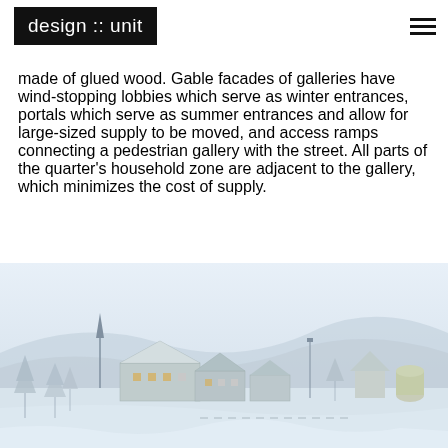design :: unit
made of glued wood. Gable facades of galleries have wind-stopping lobbies which serve as winter entrances, portals which serve as summer entrances and allow for large-sized supply to be moved, and access ramps connecting a pedestrian gallery with the street. All parts of the quarter's household zone are adjacent to the gallery, which minimizes the cost of supply.
[Figure (illustration): Winter landscape architectural rendering showing buildings with snow-covered roofs and trees in a cold, white environment with mountains in the background.]